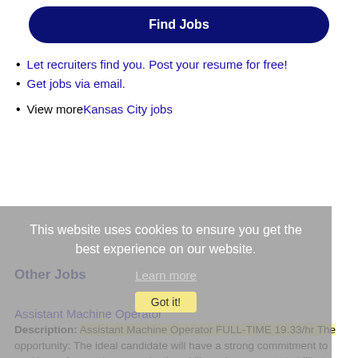Find Jobs
Let recruiters find you. Post your resume for free!
Get jobs via email.
View more Kansas City jobs
This website uses cookies to ensure you get the best experience on our website.
Learn more
Other Jobs
Assistant Machine Operator
Description: Assistant Machine Operator FULL-TIME 19.33/hr The opportunity: The ideal candidate will have a strong commitment to working safe, good communication skills, a demonstrated ability to work in a fast-paced (more...)